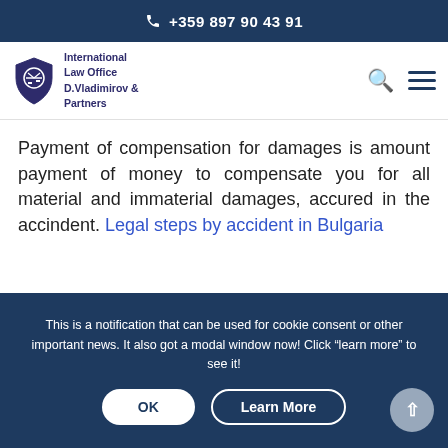+359 897 90 43 91
[Figure (logo): International Law Office D.Vladimirov & Partners shield logo with scales of justice]
Payment of compensation for damages is amount payment of money to compensate you for all material and immaterial damages, accured in the accindent. Legal steps by accident in Bulgaria
This is a notification that can be used for cookie consent or other important news. It also got a modal window now! Click "learn more" to see it!